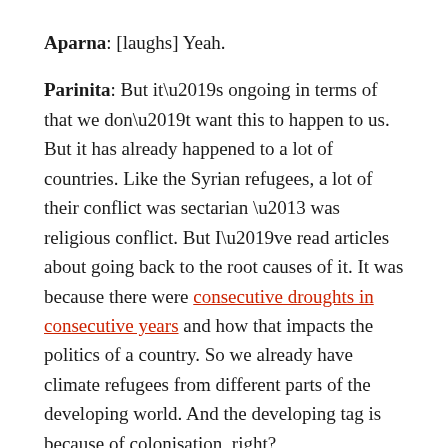Aparna: [laughs] Yeah.
Parinita: But it’s ongoing in terms of that we don’t want this to happen to us. But it has already happened to a lot of countries. Like the Syrian refugees, a lot of their conflict was sectarian – was religious conflict. But I’ve read articles about going back to the root causes of it. It was because there were consecutive droughts in consecutive years and how that impacts the politics of a country. So we already have climate refugees from different parts of the developing world. And the developing tag is because of colonisation, right?
Sanjana: Yeah.